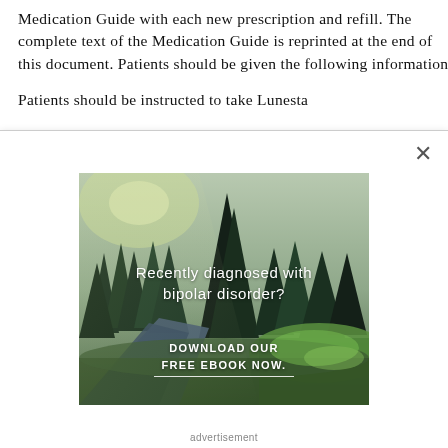Medication Guide with each new prescription and refill. The complete text of the Medication Guide is reprinted at the end of this document. Patients should be given the following information:
Patients should be instructed to take Lunesta
[Figure (photo): Advertisement popup overlay showing a forest/nature scene with a river and pine trees. Text reads 'Recently diagnosed with bipolar disorder? DOWNLOAD OUR FREE EBOOK NOW.' with a white underline beneath. Caption reads 'advertisement'.]